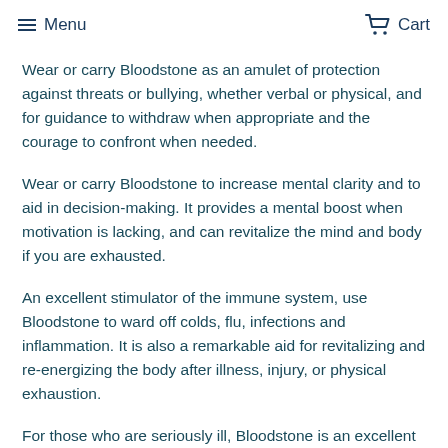Menu  Cart
Wear or carry Bloodstone as an amulet of protection against threats or bullying, whether verbal or physical, and for guidance to withdraw when appropriate and the courage to confront when needed.
Wear or carry Bloodstone to increase mental clarity and to aid in decision-making. It provides a mental boost when motivation is lacking, and can revitalize the mind and body if you are exhausted.
An excellent stimulator of the immune system, use Bloodstone to ward off colds, flu, infections and inflammation. It is also a remarkable aid for revitalizing and re-energizing the body after illness, injury, or physical exhaustion.
For those who are seriously ill, Bloodstone is an excellent talisman for facing the realities of physical mortality and death.
Its powers of strength and courage allow one to look unflinchingly